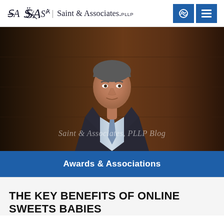Saint & Associates, PLLP
[Figure (photo): Professional headshot of a middle-aged man in a dark pinstripe suit and light blue tie, standing in front of a dark wooden background. Watermark reads: Saint & Associates, PLLP Blog]
Awards & Associations
THE KEY BENEFITS OF ONLINE SWEETS BABIES